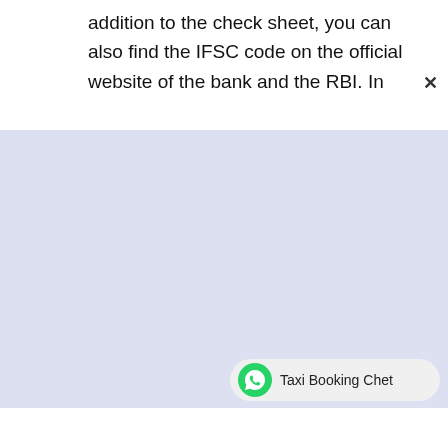addition to the check sheet, you can also find the IFSC code on the official website of the bank and the RBI. In
[Figure (screenshot): Light blue-purple blank content area, likely a scrolled/obscured web page section]
Taxi Booking Chet